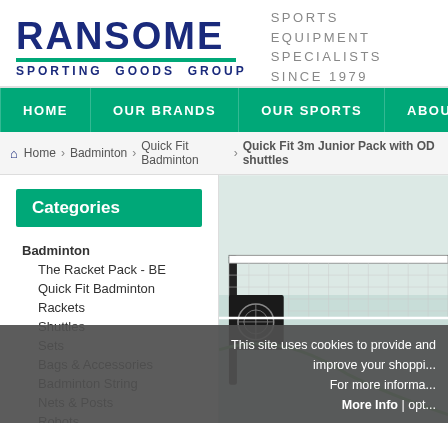[Figure (logo): Ransome Sporting Goods Group logo with green underline and tagline 'SPORTS EQUIPMENT SPECIALISTS SINCE 1979']
HOME | OUR BRANDS | OUR SPORTS | ABOUT US | DOWN...
Home › Badminton › Quick Fit Badminton › Quick Fit 3m Junior Pack with OD shuttles
Categories
Badminton
The Racket Pack - BE
Quick Fit Badminton
Rackets
Shuttles
Sets
Bags & Accessories
Badminton String
Nets & Posts
Robots
Badminton Flooring
[Figure (photo): Badminton net set up on a court, viewed from the side, with a green rope and net visible]
This site uses cookies to provide and improve your shopping experience. For more informa... More Info | opt...